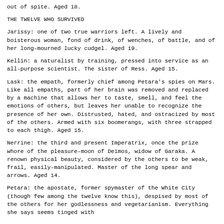out of spite. Aged 18.
THE TWELVE WHO SURVIVED
Jarissy: one of two true warriors left. A lively and boisterous woman, fond of drink, of wenches, of battle, and of her long-mourned lucky cudgel. Aged 19.
Kellin: a naturalist by training, pressed into service as an all-purpose scientist. The sister of Ress. Aged 15.
Lask: the empath, formerly chief among Petara's spies on Mars. Like all empaths, part of her brain was removed and replaced by a machine that allows her to taste, smell, and feel the emotions of others, but leaves her unable to recognize the presence of her own. Distrusted, hated, and ostracized by most of the others. Armed with six boomerangs, with three strapped to each thigh. Aged 15.
Nerrine: the third and present Imperatrix, once the prize whore of the pleasure-moon of Deimos, widow of Garaka. A renown physical beauty, considered by the others to be weak, frail, easily-manipulated. Master of the long spear and arrows. Aged 14.
Petara: the apostate, former spymaster of the White City (though few among the twelve know this), despised by most of the others for her godlessness and vegetarianism. Everything she says seems tinged with